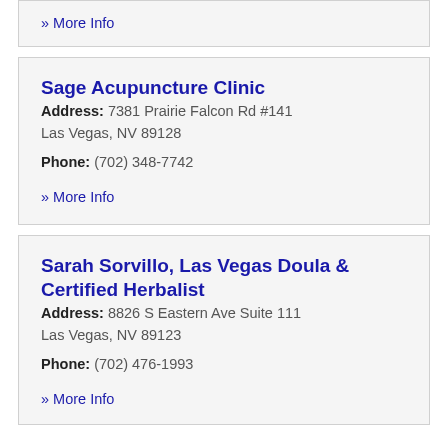» More Info
Sage Acupuncture Clinic
Address: 7381 Prairie Falcon Rd #141
Las Vegas, NV 89128
Phone: (702) 348-7742
» More Info
Sarah Sorvillo, Las Vegas Doula & Certified Herbalist
Address: 8826 S Eastern Ave Suite 111
Las Vegas, NV 89123
Phone: (702) 476-1993
» More Info